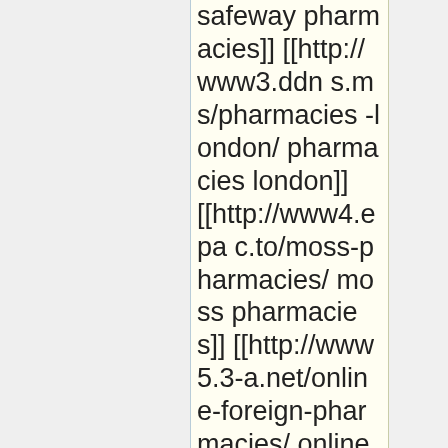safeway pharmacies]] [[http://www3.ddns.ms/pharmacies-london/ pharmacies london]] [[http://www4.epac.to/moss-pharmacies/ moss pharmacies]] [[http://www5.3-a.net/online-foreign-pharmacies/ online foreign pharmacies]] [[http://www9.trickip.org/international-online-pharmacies/ international